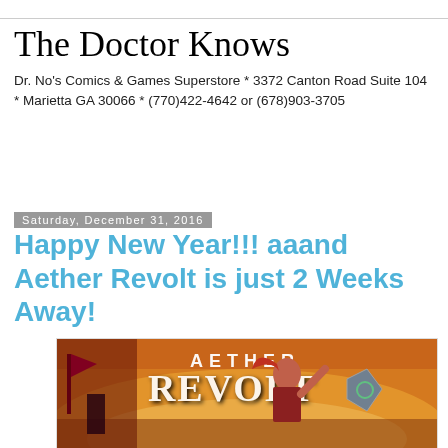The Doctor Knows
Dr. No's Comics & Games Superstore * 3372 Canton Road Suite 104 * Marietta GA 30066 * (770)422-4642 or (678)903-3705
Saturday, December 31, 2016
Happy New Year!!! aaand Aether Revolt is just 2 Weeks Away!
[Figure (photo): Aether Revolt Magic: The Gathering card game promotional image showing a female warrior character with red hair in front of flames, with the text 'AETHER REVOLT' displayed prominently]